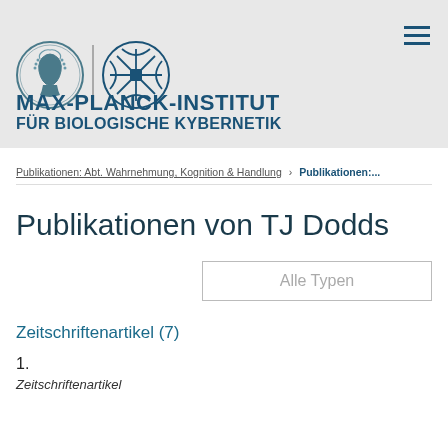MAX-PLANCK-INSTITUT FÜR BIOLOGISCHE KYBERNETIK
Publikationen: Abt. Wahrnehmung, Kognition & Handlung › Publikationen:...
Publikationen von TJ Dodds
Alle Typen
Zeitschriftenartikel (7)
1.
Zeitschriftenartikel